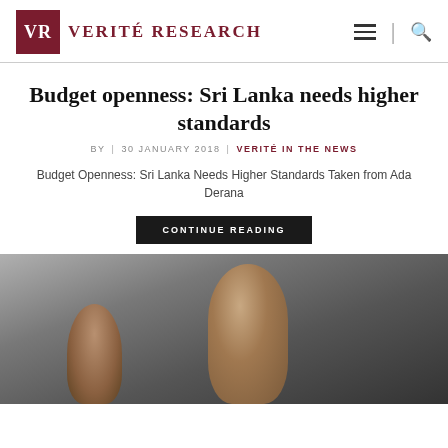Verité Research
Budget openness: Sri Lanka needs higher standards
BY | 30 JANUARY 2018 | VERITÉ IN THE NEWS
Budget Openness: Sri Lanka Needs Higher Standards Taken from Ada Derana
CONTINUE READING
[Figure (photo): Photo of two people at what appears to be a press conference or meeting, a man in the foreground wearing glasses and a beige jacket, and a woman partially visible in the background.]